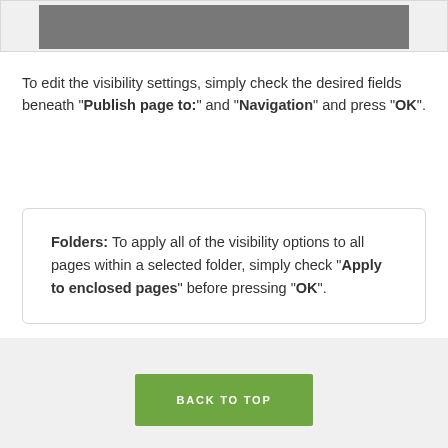[Figure (screenshot): Top portion of a screenshot showing a dark gray UI panel]
To edit the visibility settings, simply check the desired fields beneath "Publish page to:" and "Navigation" and press "OK".
Folders: To apply all of the visibility options to all pages within a selected folder, simply check "Apply to enclosed pages" before pressing "OK".
BACK TO TOP